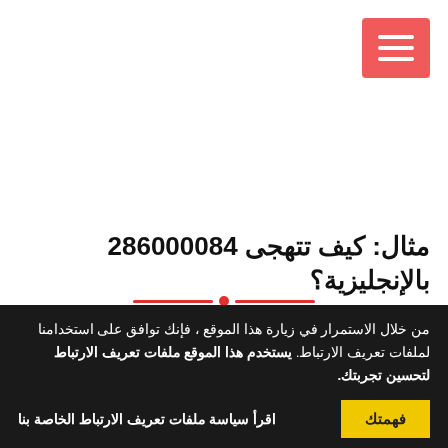[Figure (other): Red hamburger/menu button icon with three white horizontal lines on coral-red background, positioned top-right]
مثال: كيف تتهجى 286000084 بالإنجليزية؟
من خلال الاستمرار في زيارة هذا الموقع ، فإنك توافق على استخدامنا لملفات تعريف الارتباط. يستخدم هذا الموقع ملفات تعريف الارتباط لتحسين تجربتك.
اقرأ سياسة ملفات تعريف الارتباط الخاصة بنا
فهمتك